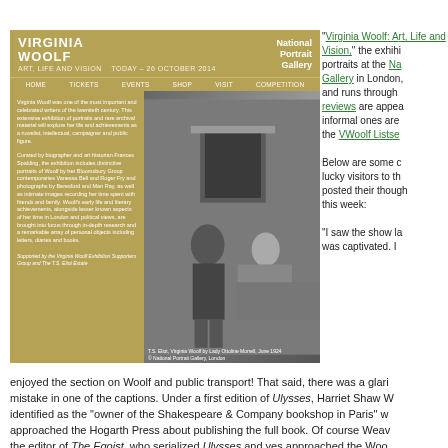[Figure (screenshot): Screenshot of the Virginia Woolf: Art, Life and Vision exhibition website from the National Portrait Gallery, showing the site header with gold background, navigation bar, a left panel with exhibition description text, and a black-and-white photograph of T.S. Eliot and Virginia Woolf by Lady Ottoline Morrell, June 1924.]
“Virginia Woolf: Art, Life and Vision,” the exhibition of portraits at the National Portrait Gallery in London, and runs through reviews are appearing, informal ones are on the VWoolf Listse…
Below are some of lucky visitors to the posted their thoughts this week:
“I saw the show last was captivated. I enjoyed the section on Woolf and public transport! That said, there was a glaring mistake in one of the captions. Under a first edition of Ulysses, Harriet Shaw Weaver was identified as the “owner of the Shakespeare & Company bookshop in Paris” who approached the Hogarth Press about publishing the full book. Of course Weaver was the editor of The Egoist, who serialized Ulysses and yes approached the Woolfs. It was the owner of Shakespeare & Company, who finally published the book herself at personal expense, and as far as I know had no dealings with the Woolfs or Ho…